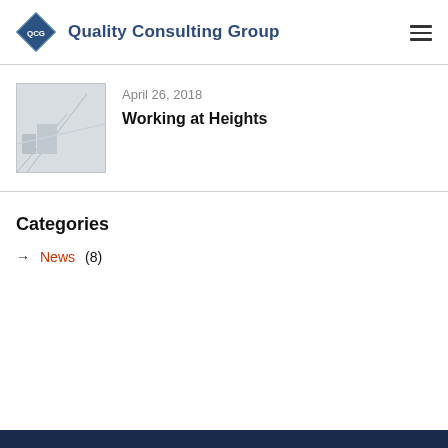Quality Consulting Group
April 26, 2018
Working at Heights
Categories
News (8)